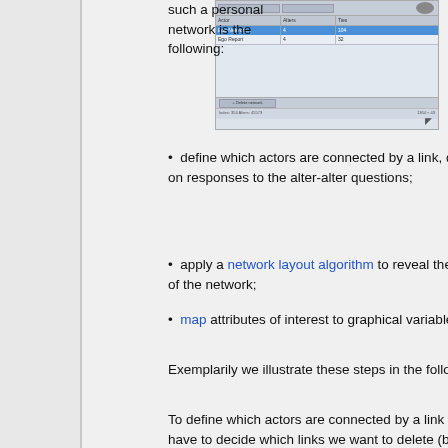such a personal network is the following:
[Figure (screenshot): Software application screenshot showing a dialog with a table/list of items, one row highlighted in blue, with navigation controls at the bottom.]
define which actors are connected by a link, dependent on responses to the alter-alter questions;
apply a network layout algorithm to reveal the structure of the network;
map attributes of interest to graphical variables.
Exemplarily we illustrate these steps in the following.
To define which actors are connected by a link we actually have to decide which links we want to delete (because